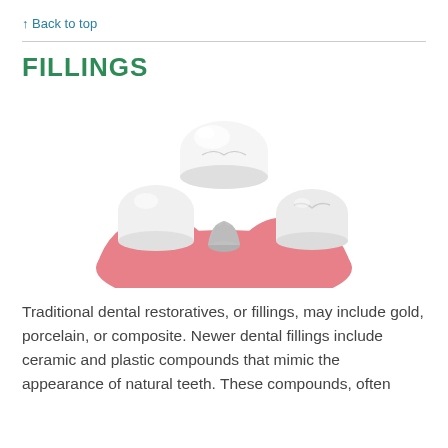↑ Back to top
FILLINGS
[Figure (illustration): 3D illustration of a dental crown being placed on a prepared tooth abutment, with adjacent natural teeth and pink gum tissue visible.]
Traditional dental restoratives, or fillings, may include gold, porcelain, or composite. Newer dental fillings include ceramic and plastic compounds that mimic the appearance of natural teeth. These compounds, often